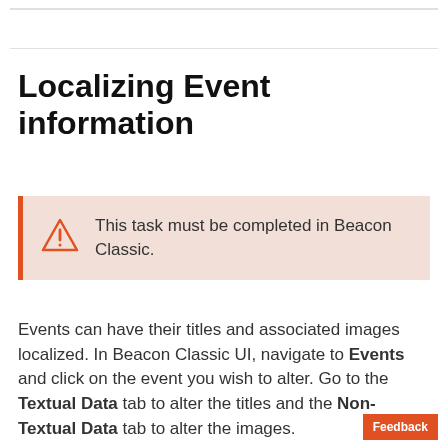Localizing Event information
This task must be completed in Beacon Classic.
Events can have their titles and associated images localized. In Beacon Classic UI, navigate to Events and click on the event you wish to alter. Go to the Textual Data tab to alter the titles and the Non-Textual Data tab to alter the images.